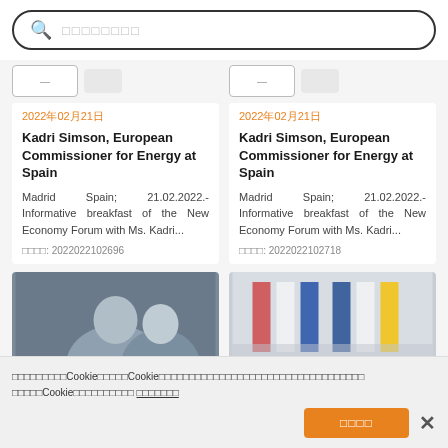[Figure (screenshot): Search bar with magnifying glass icon and placeholder text in CJK characters]
2022年02月21日
Kadri Simson, European Commissioner for Energy at Spain
Madrid Spain; 21.02.2022.- Informative breakfast of the New Economy Forum with Ms. Kadri...
参考编号: 2022022102696
2022年02月21日
Kadri Simson, European Commissioner for Energy at Spain
Madrid Spain; 21.02.2022.- Informative breakfast of the New Economy Forum with Ms. Kadri...
参考编号: 2022022102718
[Figure (photo): Photo of people, left card]
[Figure (photo): Photo with flags, right card]
我们使用自己的和第三方Cookie来改善我们的服务。Cookie被用于个性化广告和分析流量。您可以接受所有Cookie，也可以配置您的偏好。如果您拒绝Cookie，您可能会发现部分内容无法正常显示。 了解更多信息